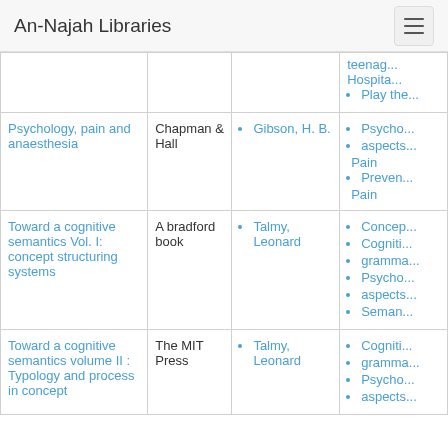An-Najah Libraries
| Title | Publisher | Author | Subjects |
| --- | --- | --- | --- |
|  |  |  | teenage...
Hospita...
Play the... |
| Psychology, pain and anaesthesia | Chapman & Hall | Gibson, H. B. | Psycho...
aspects...
Pain
Preven...
Pain |
| Toward a cognitive semantics Vol. I: concept structuring systems | A bradford book | Talmy, Leonard | Concep...
Cogniti...
grama...
Psycho...
aspects...
Seman... |
| Toward a cognitive semantics volume II : Typology and process in concept | The MIT Press | Talmy, Leonard | Cogniti...
grama...
Psycho...
aspects... |